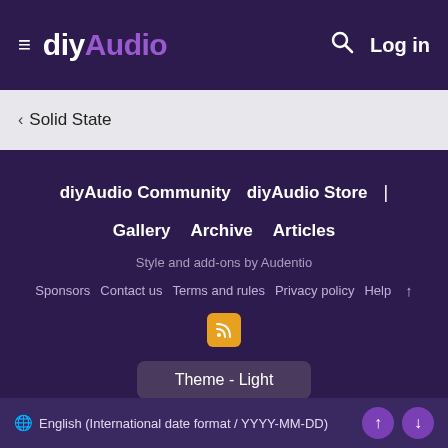diyAudio — Log in
< Solid State
diyAudio Community  diyAudio Store  |  Gallery  Archive  Articles
Style and add-ons by Audentio
Sponsors  Contact us  Terms and rules  Privacy policy  Help  ↑
[Figure (logo): RSS feed icon button (orange square with RSS symbol)]
Theme - Light
🌐 English (International date format / YYYY-MM-DD)